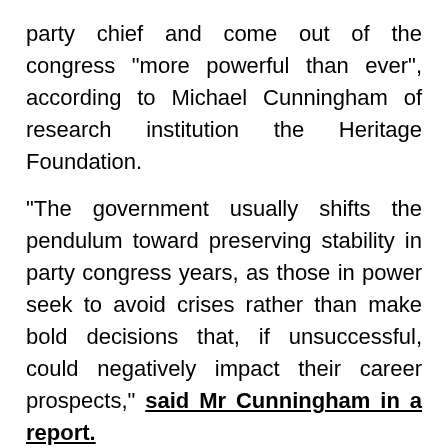party chief and come out of the congress "more powerful than ever", according to Michael Cunningham of research institution the Heritage Foundation.
"The government usually shifts the pendulum toward preserving stability in party congress years, as those in power seek to avoid crises rather than make bold decisions that, if unsuccessful, could negatively impact their career prospects," said Mr Cunningham in a report.
Mr Xi himself said in a politburo meeting on Thursday that China would stick to its dynamic zero-Covid policy, saying: "Victory comes from perseverance".
With this clear instruction coming from the top, its more likely that officials will instead put in place smaller and gradual measures, similar to those already being made - but with no "fundamental" change - for now.